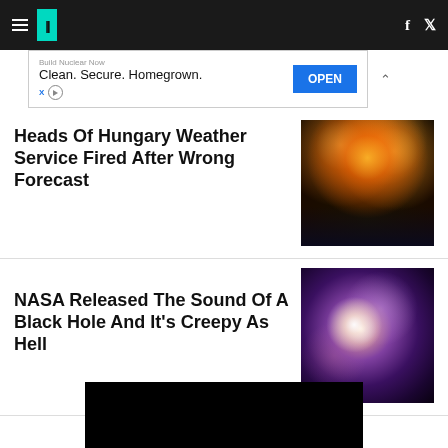HuffPost navigation with hamburger menu, logo, Facebook and Twitter icons
[Figure (screenshot): Advertisement banner: Build Nuclear Now. Clean. Secure. Homegrown. with blue OPEN button]
Heads Of Hungary Weather Service Fired After Wrong Forecast
[Figure (photo): Fireworks over a bridge at night in Budapest]
NASA Released The Sound Of A Black Hole And It's Creepy As Hell
[Figure (photo): Colorful galaxy/nebula image from NASA]
[Figure (photo): Black video thumbnail at bottom of page]